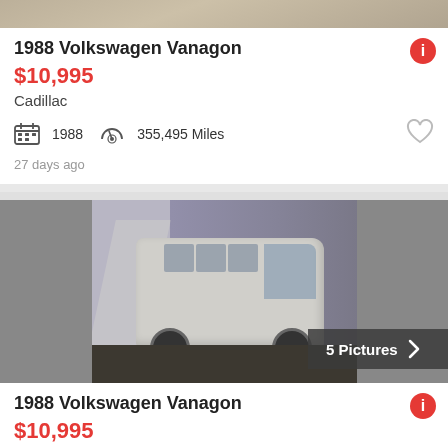[Figure (photo): Partial top of a vehicle listing card image, cropped at top]
1988 Volkswagen Vanagon
$10,995
Cadillac
1988   355,495 Miles
27 days ago
[Figure (photo): 1988 Volkswagen Vanagon parked in front of a purple/grey building exterior, dusty white/grey van, showing front and side, 5 Pictures badge overlay]
1988 Volkswagen Vanagon
$10,995